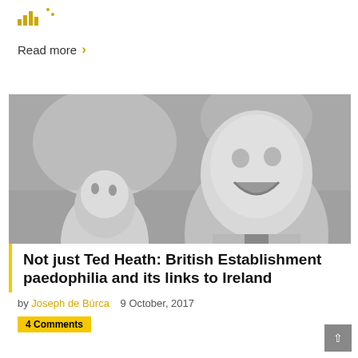[Figure (logo): Bar chart logo icon with decorative dots]
Read more ›
[Figure (photo): Black and white photograph of two men, one laughing, outdoors. Tags: INTELLIGENCE SECURITY AND COVERT ACTION, POLITICS]
Not just Ted Heath: British Establishment paedophilia and its links to Ireland
by Joseph de Búrca   9 October, 2017
4 Comments